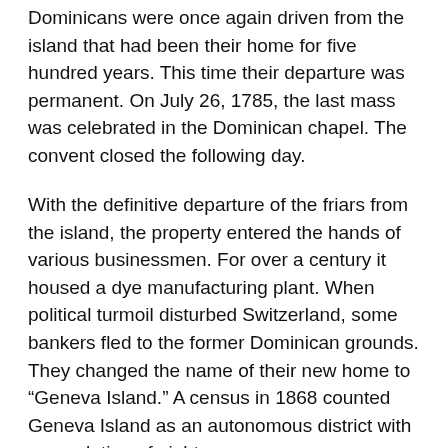Dominicans were once again driven from the island that had been their home for five hundred years. This time their departure was permanent. On July 26, 1785, the last mass was celebrated in the Dominican chapel. The convent closed the following day.
With the definitive departure of the friars from the island, the property entered the hands of various businessmen. For over a century it housed a dye manufacturing plant. When political turmoil disturbed Switzerland, some bankers fled to the former Dominican grounds. They changed the name of their new home to “Geneva Island.” A census in 1868 counted Geneva Island as an autonomous district with a population of eighteen.
After a railway was built in Konstanz, a hotel entrepreneur gained control of the island. His name was Eberhard von Zeppelin, the brother of the better-known Ferdinand Graf von Zeppelin, inventor of the infamously flammable air vehicle.